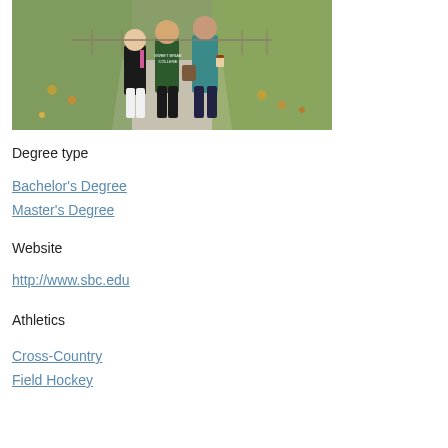[Figure (photo): Three young women walking on a campus path outdoors, wearing college sweatshirts and casual clothing, with green grass and fallen leaves in background.]
Degree type
Bachelor's Degree
Master's Degree
Website
http://www.sbc.edu
Athletics
Cross-Country
Field Hockey